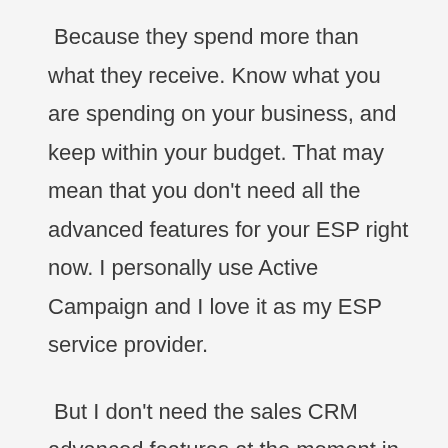Because they spend more than what they receive. Know what you are spending on your business, and keep within your budget. That may mean that you don't need all the advanced features for your ESP right now. I personally use Active Campaign and I love it as my ESP service provider.
But I don't need the sales CRM advanced features at the moment in my business, so I select a basic plan. Of course as my